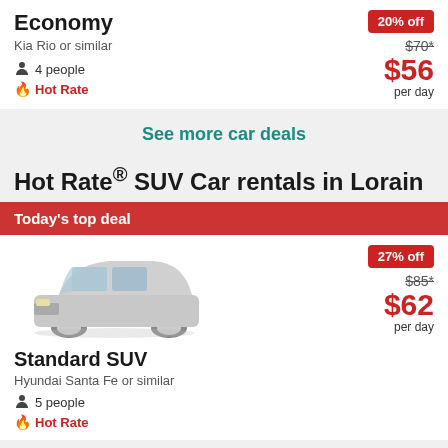Economy
Kia Rio or similar
4 people
Hot Rate
20% off  $70*  $56 per day
See more car deals
Hot Rate® SUV Car rentals in Lorain
Today's top deal
[Figure (photo): Silver Hyundai Santa Fe SUV car image]
Standard SUV
Hyundai Santa Fe or similar
5 people
Hot Rate
27% off  $85*  $62 per day